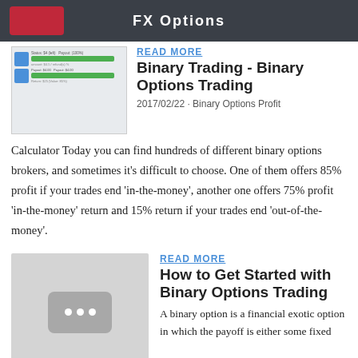FX Options
READ MORE
[Figure (screenshot): Screenshot of a binary options trading platform interface showing green profit bars and trade options]
Binary Trading - Binary Options Trading
2017/02/22 · Binary Options Profit
Calculator Today you can find hundreds of different binary options brokers, and sometimes it's difficult to choose. One of them offers 85% profit if your trades end 'in-the-money', another one offers 75% profit 'in-the-money' return and 15% return if your trades end 'out-of-the-money'.
READ MORE
[Figure (photo): Gray placeholder image with video thumbnail icon showing three dots]
How to Get Started with Binary Options Trading
A binary option is a financial exotic option in which the payoff is either some fixed monetary amount or nothing at all. The two main types of binary